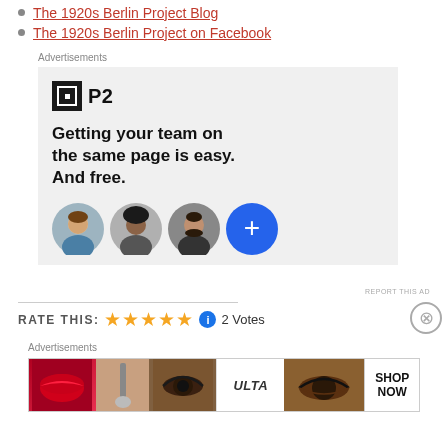The 1920s Berlin Project Blog
The 1920s Berlin Project on Facebook
Advertisements
[Figure (other): P2 advertisement: logo with black square icon and 'P2' text, tagline 'Getting your team on the same page is easy. And free.' with three circular avatar photos and a blue plus button]
REPORT THIS AD
RATE THIS: ★★★★★  2 Votes
Advertisements
[Figure (other): Ulta Beauty advertisement banner with cosmetics imagery and SHOP NOW button]